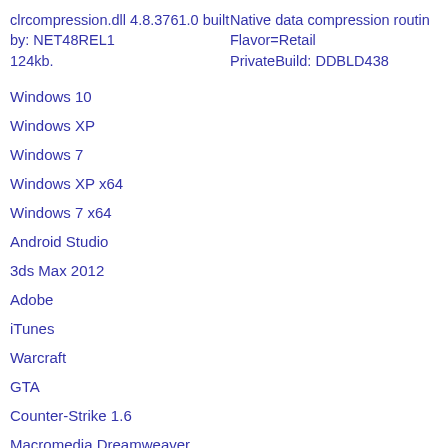clrcompression.dll 4.8.3761.0 built by: NET48REL1
124kb.
Native data compression routines
Flavor=Retail
PrivateBuild: DDBLD438
Windows 10
Windows XP
Windows 7
Windows XP x64
Windows 7 x64
Android Studio
3ds Max 2012
Adobe
iTunes
Warcraft
GTA
Counter-Strike 1.6
Macromedia Dreamweaver